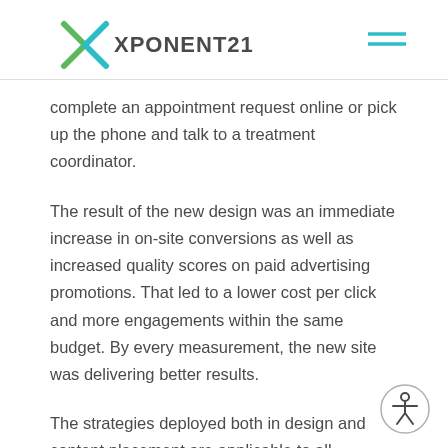XPONENT21
complete an appointment request online or pick up the phone and talk to a treatment coordinator.
The result of the new design was an immediate increase in on-site conversions as well as increased quality scores on paid advertising promotions. That led to a lower cost per click and more engagements within the same budget. By every measurement, the new site was delivering better results.
The strategies deployed both in design and content placement are applicable to all